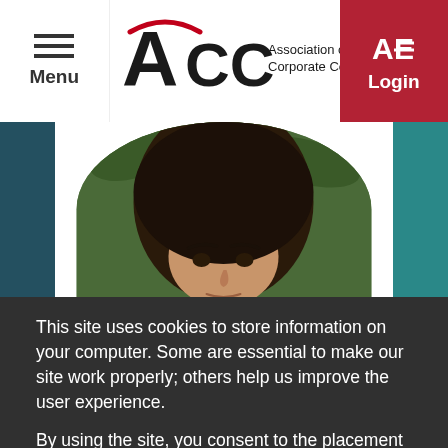[Figure (logo): ACC - Association of Corporate Counsel logo with navigation bar including Menu button and Login button]
[Figure (photo): Circular portrait photo of a woman with dark hair against green foliage background, cropped at top]
This site uses cookies to store information on your computer. Some are essential to make our site work properly; others help us improve the user experience.
By using the site, you consent to the placement of these cookies. For more information, read our cookies policy and our privacy policy.
Accept